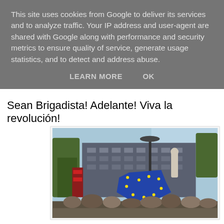This site uses cookies from Google to deliver its services and to analyze traffic. Your IP address and user-agent are shared with Google along with performance and security metrics to ensure quality of service, generate usage statistics, and to detect and address abuse.
LEARN MORE   OK
Sean Brigadista! Adelante! Viva la revolución!
[Figure (photo): Outdoor street rally or protest scene. Blue EU flag being waved in the foreground. Urban background with multi-story building, trees, a tall lamp post, and a blue sky. Crowd of people visible at the bottom.]